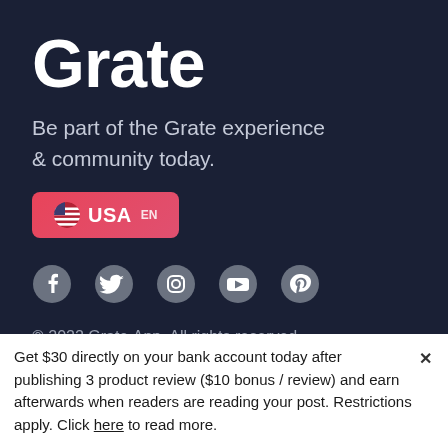Grate
Be part of the Grate experience & community today.
[Figure (other): USA EN locale selector button with American flag icon, red gradient background]
[Figure (other): Social media icons row: Facebook, Twitter, Instagram, YouTube, Pinterest — all grey]
© 2022 Grate.App. All rights reserved.
Get in touch
Legal Stuff
Search
Privacy Policy
Contact Us
Terms of Use
Get $30 directly on your bank account today after publishing 3 product review ($10 bonus / review) and earn afterwards when readers are reading your post. Restrictions apply. Click here to read more.